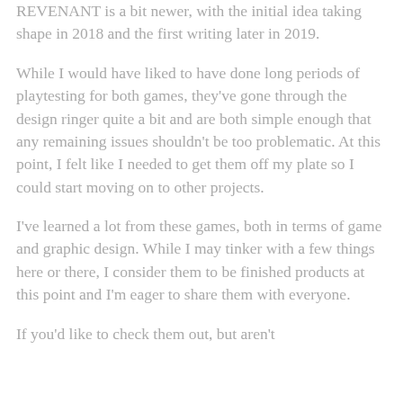REVENANT is a bit newer, with the initial idea taking shape in 2018 and the first writing later in 2019.
While I would have liked to have done long periods of playtesting for both games, they've gone through the design ringer quite a bit and are both simple enough that any remaining issues shouldn't be too problematic. At this point, I felt like I needed to get them off my plate so I could start moving on to other projects.
I've learned a lot from these games, both in terms of game and graphic design. While I may tinker with a few things here or there, I consider them to be finished products at this point and I'm eager to share them with everyone.
If you'd like to check them out, but aren't